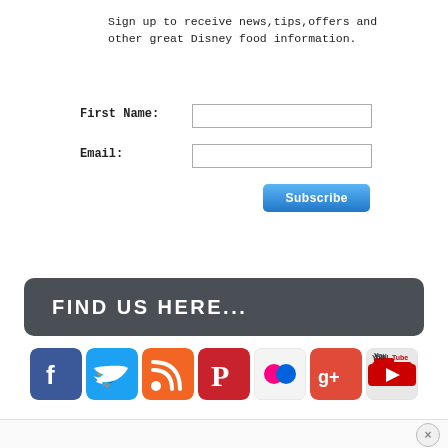Sign up to receive news,tips,offers and other great Disney food information.
First Name:
Email:
FIND US HERE...
[Figure (illustration): Row of social media icons: Facebook, Twitter, RSS, Pinterest, Flickr, Google+, YouTube]